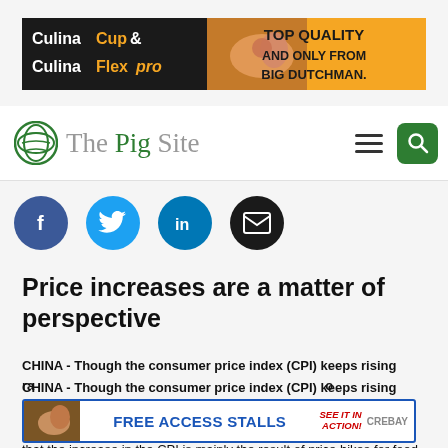[Figure (illustration): CulinaCup & CulinaFlex pro advertisement banner for Big Dutchman with pig feeding equipment image, orange and black background, text: TOP QUALITY AND ONLY FROM BIG DUTCHMAN.]
The Pig Site
[Figure (illustration): Social media share icons: Facebook (blue circle with f), Twitter (light blue circle with bird), LinkedIn (blue circle with in), Email (black circle with envelope)]
Price increases are a matter of perspective
CHINA - Though the consumer price index (CPI) keeps rising rapidly, some economists point out that the increase of the CPI is mainly the result of price hikes for food. The decline of the growth rate for non-food
[Figure (illustration): FREE ACCESS STALLS advertisement banner with SEE IT IN ACTION! and Crebay logo, blue border]